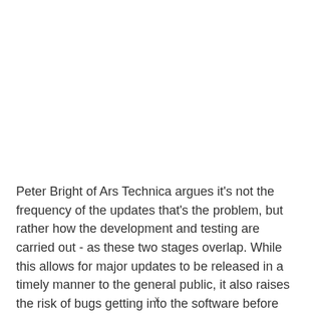Peter Bright of Ars Technica argues it's not the frequency of the updates that's the problem, but rather how the development and testing are carried out - as these two stages overlap. While this allows for major updates to be released in a timely manner to the general public, it also raises the risk of bugs getting into the software before
x